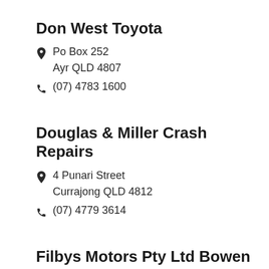Don West Toyota
Po Box 252
Ayr QLD 4807
(07) 4783 1600
Douglas & Miller Crash Repairs
4 Punari Street
Currajong QLD 4812
(07) 4779 3614
Filbys Motors Pty Ltd Bowen
49 Powell Street